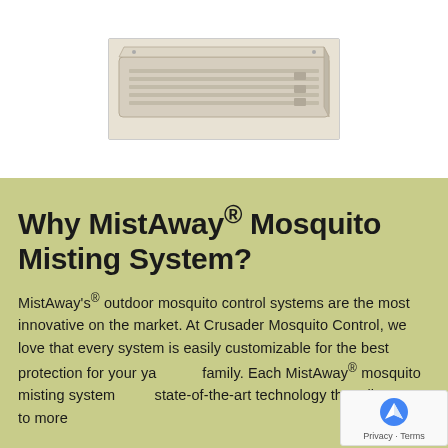[Figure (photo): Photo of a MistAway mosquito misting system unit — a flat, beige/tan rectangular box device, viewed from a slight angle showing the top and front face with vents.]
Why MistAway® Mosquito Misting System?
MistAway's® outdoor mosquito control systems are the most innovative on the market. At Crusader Mosquito Control, we love that every system is easily customizable for the best protection for your yard and family. Each MistAway® mosquito misting system uses state-of-the-art technology that allows us to more